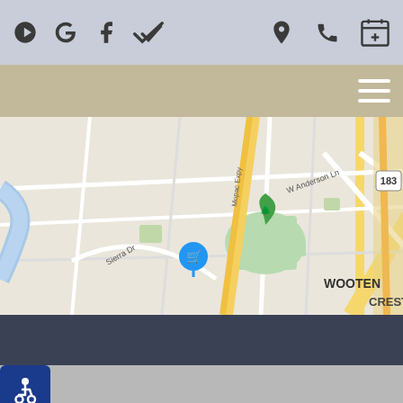[Figure (screenshot): Mobile website header bar with social media icons (Yelp, Google, Facebook, Healthgrades) on left and location pin, phone, and appointment calendar icons on right, on a blue-gray background]
[Figure (screenshot): Beige/tan navigation bar with hamburger menu icon on right]
[Figure (map): Google Maps screenshot showing Austin TX area with Beverly S. Sheffield Northwest District Park, H-E-B grocery store, Wooten neighborhood, Crestview area, W Anderson Ln, and route 183]
[Figure (screenshot): Dark navy blue bar below the map]
[Figure (screenshot): Gray content area with blue accessibility (wheelchair) icon button in top-left corner]